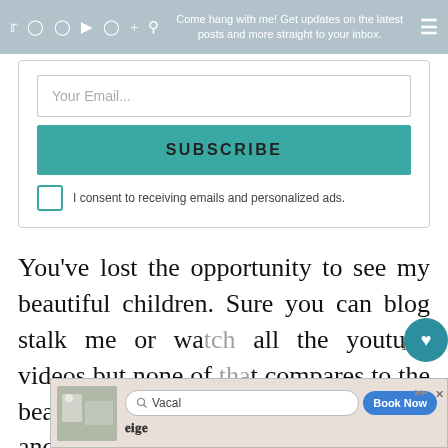Come hang with me! Get updates on the latest posts and more straight to your inbox.
Your Email...
SUBSCRIBE
I consent to receiving emails and personalized ads.
You've lost the opportunity to see my beautiful children. Sure you can blog stalk me or watch all the youtube videos but none of that compares to the beauty they are in real life. Their hugs and kisses and the sound of their in... you've
[Figure (screenshot): Ad banner at the bottom with search bar showing 'Vacal' and 'Book Now' button, overlaid on page content]